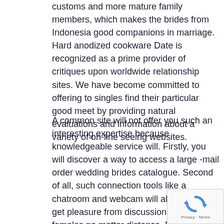customs and more mature family members, which makes the brides from Indonesia good companions in marriage. Hard anodized cookware Date is recognized as a prime provider of critiques upon worldwide relationship sites. We have become committed to offering to singles find their particular good meet by providing natural evaluations and information about a variety of on-line seeing websites.
A common site will not offer you such an interesting expertise because knowledgeable service will. Firstly, you will discover a way to access a large -mail order wedding brides catalogue. Second of all, such connection tools like a chatroom and webcam will allow you to get pleasure from discussions with females no matter distance. Besides, an correct search algorithm will help you discover a perfect match amidst Indonesian one ladies in search of